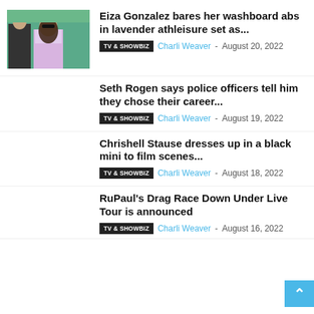[Figure (photo): Photo of Eiza Gonzalez in lavender athleisure set walking with a man in a suit outdoors]
Eiza Gonzalez bares her washboard abs in lavender athleisure set as...
TV & SHOWBIZ  Charli Weaver - August 20, 2022
Seth Rogen says police officers tell him they chose their career...
TV & SHOWBIZ  Charli Weaver - August 19, 2022
Chrishell Stause dresses up in a black mini to film scenes...
TV & SHOWBIZ  Charli Weaver - August 18, 2022
RuPaul's Drag Race Down Under Live Tour is announced
TV & SHOWBIZ  Charli Weaver - August 16, 2022